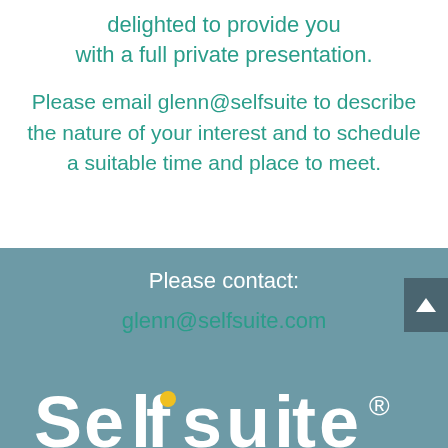delighted to provide you with a full private presentation.
Please email glenn@selfsuite to describe the nature of your interest and to schedule a suitable time and place to meet.
Please contact:
glenn@selfsuite.com
[Figure (logo): Selfsuite logo in white text on teal background, partially visible at bottom]